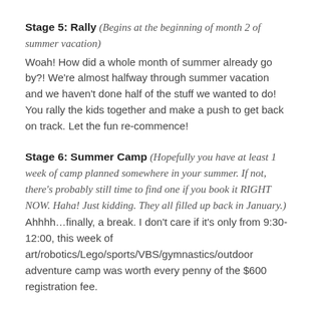Stage 5: Rally (Begins at the beginning of month 2 of summer vacation)
Woah! How did a whole month of summer already go by?! We're almost halfway through summer vacation and we haven't done half of the stuff we wanted to do! You rally the kids together and make a push to get back on track. Let the fun re-commence!
Stage 6: Summer Camp (Hopefully you have at least 1 week of camp planned somewhere in your summer. If not, there's probably still time to find one if you book it RIGHT NOW. Haha! Just kidding. They all filled up back in January.)
Ahhhh…finally, a break. I don't care if it's only from 9:30-12:00, this week of art/robotics/Lego/sports/VBS/gymnastics/outdoor adventure camp was worth every penny of the $600 registration fee.